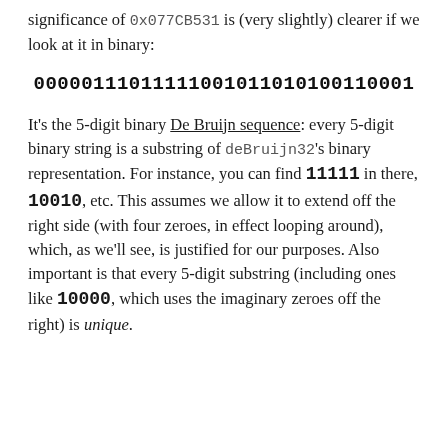significance of 0x077CB531 is (very slightly) clearer if we look at it in binary:
00000111011111001011010100110001
It's the 5-digit binary De Bruijn sequence: every 5-digit binary string is a substring of deBruijn32's binary representation. For instance, you can find 11111 in there, 10010, etc. This assumes we allow it to extend off the right side (with four zeroes, in effect looping around), which, as we'll see, is justified for our purposes. Also important is that every 5-digit substring (including ones like 10000, which uses the imaginary zeroes off the right) is unique.